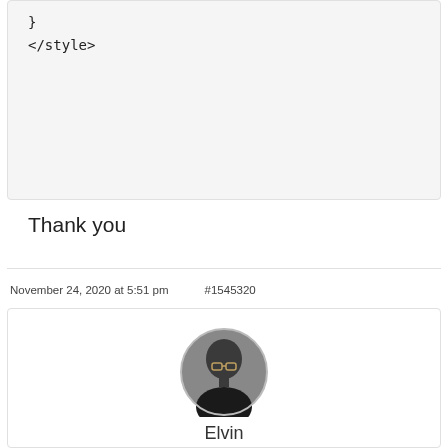[Figure (screenshot): Code block showing closing brace and </style> tag on light gray background]
Thank you
November 24, 2020 at 5:51 pm    #1545320
[Figure (photo): Circular avatar photo of Elvin, a person wearing glasses]
Elvin
Customer Support